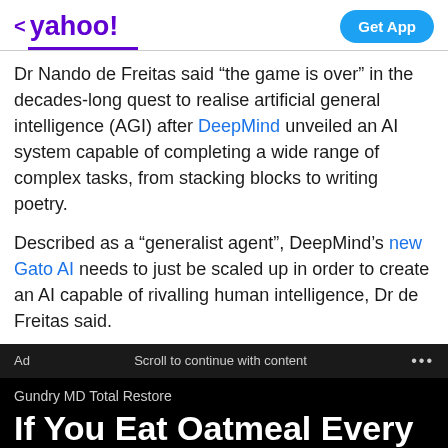< yahoo! | Get App
Dr Nando de Freitas said “the game is over” in the decades-long quest to realise artificial general intelligence (AGI) after DeepMind unveiled an AI system capable of completing a wide range of complex tasks, from stacking blocks to writing poetry.
Described as a “generalist agent”, DeepMind’s new Gato AI needs to just be scaled up in order to create an AI capable of rivalling human intelligence, Dr de Freitas said.
Ad   Scroll to continue with content   ...
Gundry MD Total Restore
If You Eat Oatmeal Every Day, This Is What